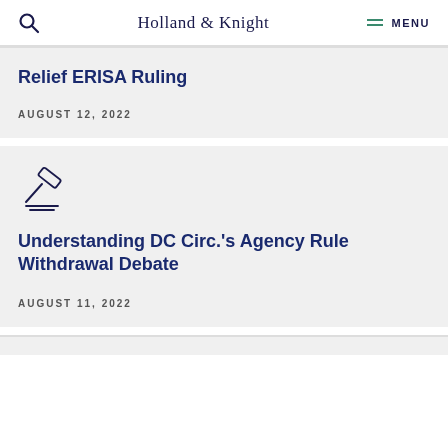Holland & Knight  MENU
Relief ERISA Ruling
AUGUST 12, 2022
[Figure (illustration): Gavel/law icon — a stylized gavel with lines beneath it, drawn in outline style]
Understanding DC Circ.'s Agency Rule Withdrawal Debate
AUGUST 11, 2022